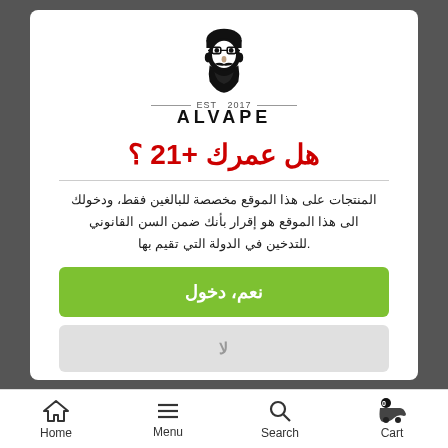[Figure (logo): ALVAPE brand logo with stylized bearded man face illustration and text EST 2017 ALVAPE]
هل عمرك 21+ ؟
المنتجات على هذا الموقع مخصصة للبالغين فقط، ودخولك الى هذا الموقع هو إقرار بأنك ضمن السن القانوني للتدخين في الدولة التي تقيم بها.
نعم، دخول
لا
Home   Menu   Search   Cart